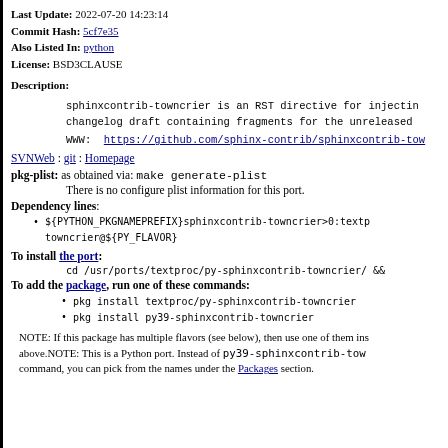Last Update: 2022-07-20 14:23:14
Commit Hash: 5cf7e35
Also Listed In: python
License: BSD3CLAUSE
Description:
sphinxcontrib-towncrier is an RST directive for injecting changelog draft containing fragments for the unreleased
WWW: https://github.com/sphinx-contrib/sphinxcontrib-tow
SVNWeb : git : Homepage
pkg-plist: as obtained via: make generate-plist
There is no configure plist information for this port.
Dependency lines:
${PYTHON_PKGNAMEPREFIX}sphinxcontrib-towncrier>0:textp towncrier@${PY_FLAVOR}
To install the port:
cd /usr/ports/textproc/py-sphinxcontrib-towncrier/ &&
To add the package, run one of these commands:
pkg install textproc/py-sphinxcontrib-towncrier
pkg install py39-sphinxcontrib-towncrier
NOTE: If this package has multiple flavors (see below), then use one of them instead above.NOTE: This is a Python port. Instead of py39-sphinxcontrib-tow command, you can pick from the names under the Packages section.